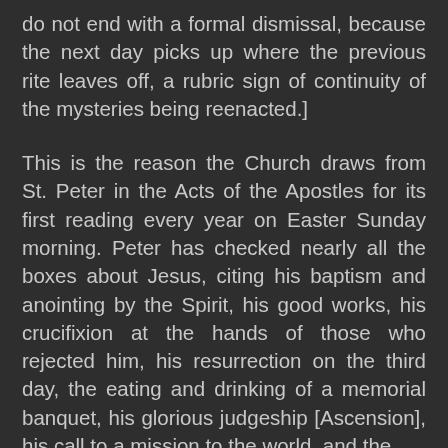do not end with a formal dismissal, because the next day picks up where the previous rite leaves off, a rubric sign of continuity of the mysteries being reenacted.]
This is the reason the Church draws from St. Peter in the Acts of the Apostles for its first reading every year on Easter Sunday morning. Peter has checked nearly all the boxes about Jesus, citing his baptism and anointing by the Spirit, his good works, his crucifixion at the hands of those who rejected him, his resurrection on the third day, the eating and drinking of a memorial banquet, his glorious judgeship [Ascension], his call to a mission to the world, and the